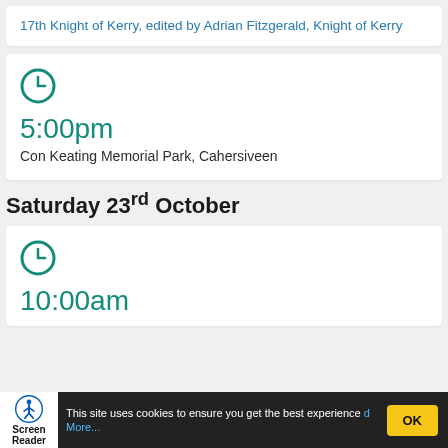17th Knight of Kerry, edited by Adrian Fitzgerald, Knight of Kerry
[Figure (other): Clock icon (teal circle with clock hands)]
5:00pm
Con Keating Memorial Park, Cahersiveen
Saturday 23rd October
[Figure (other): Clock icon (teal circle with clock hands)]
10:00am
This site uses cookies to ensure you get the best experience   Read More...   OK